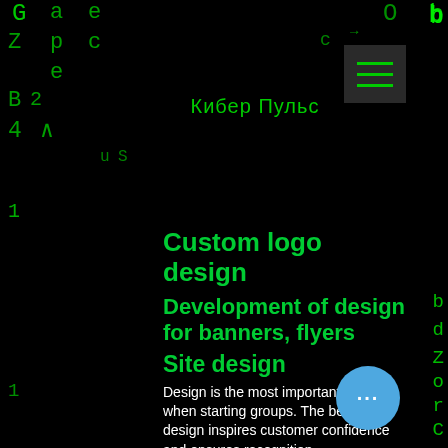[Figure (screenshot): Matrix-style green falling characters background on black, decorating left and right margins and top area]
Кибер Пульс
Custom logo design
Development of design for banners, flyers
Site design
Design is the most important point when starting groups. The beautiful design inspires customer confidence and ensures recognition.
The group menu allows you to turn an ordinary visitor into a real customer. Since a properly organized menu will lead him to submitting an application or